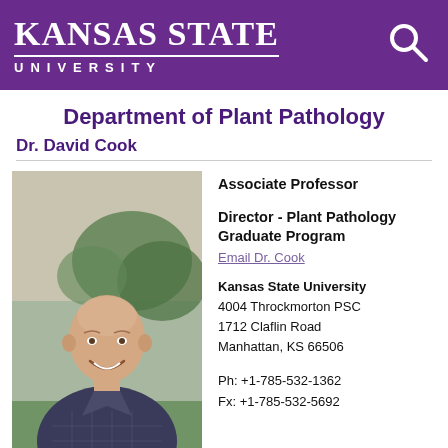Kansas State University
Department of Plant Pathology
Dr. David Cook
[Figure (photo): Portrait photo of Dr. David Cook, a bald Caucasian man smiling, wearing a plaid shirt, outdoors with blurred greenery in background.]
Associate Professor

Director - Plant Pathology Graduate Program

Email Dr. Cook

Kansas State University
4004 Throckmorton PSC
1712 Claflin Road
Manhattan, KS 66506

Ph: +1-785-532-1362
Fx: +1-785-532-5692